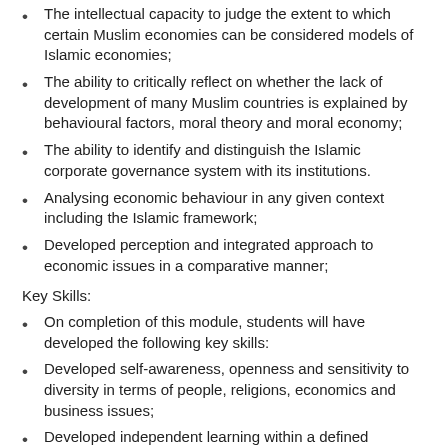The intellectual capacity to judge the extent to which certain Muslim economies can be considered models of Islamic economies;
The ability to critically reflect on whether the lack of development of many Muslim countries is explained by behavioural factors, moral theory and moral economy;
The ability to identify and distinguish the Islamic corporate governance system with its institutions.
Analysing economic behaviour in any given context including the Islamic framework;
Developed perception and integrated approach to economic issues in a comparative manner;
Key Skills:
On completion of this module, students will have developed the following key skills:
Developed self-awareness, openness and sensitivity to diversity in terms of people, religions, economics and business issues;
Developed independent learning within a defined framework of study at an advanced level;
Developed independent thought in analysing and critiquing existing scholarship on the subject area and in evaluating its contribution;